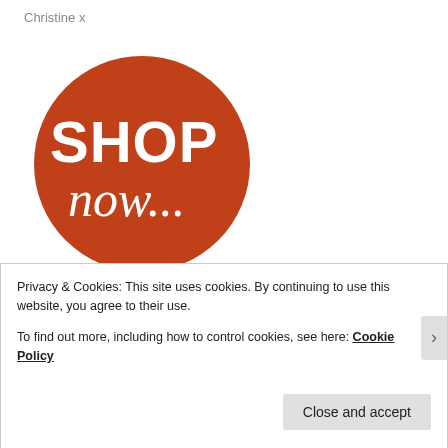Christine x
[Figure (illustration): A large burnt-orange/rust colored circle containing the text 'SHOP now...' in white — 'SHOP' in bold sans-serif uppercase and 'now...' in italic serif below it.]
Privacy & Cookies: This site uses cookies. By continuing to use this website, you agree to their use.
To find out more, including how to control cookies, see here: Cookie Policy
Close and accept